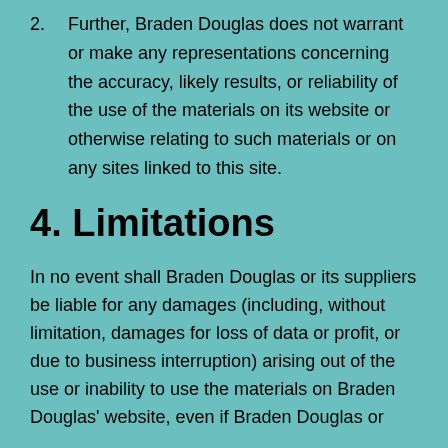2. Further, Braden Douglas does not warrant or make any representations concerning the accuracy, likely results, or reliability of the use of the materials on its website or otherwise relating to such materials or on any sites linked to this site.
4. Limitations
In no event shall Braden Douglas or its suppliers be liable for any damages (including, without limitation, damages for loss of data or profit, or due to business interruption) arising out of the use or inability to use the materials on Braden Douglas' website, even if Braden Douglas or